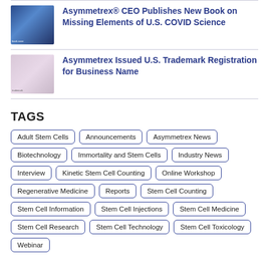Asymmetrex® CEO Publishes New Book on Missing Elements of U.S. COVID Science
Asymmetrex Issued U.S. Trademark Registration for Business Name
TAGS
Adult Stem Cells
Announcements
Asymmetrex News
Biotechnology
Immortality and Stem Cells
Industry News
Interview
Kinetic Stem Cell Counting
Online Workshop
Regenerative Medicine
Reports
Stem Cell Counting
Stem Cell Information
Stem Cell Injections
Stem Cell Medicine
Stem Cell Research
Stem Cell Technology
Stem Cell Toxicology
Webinar